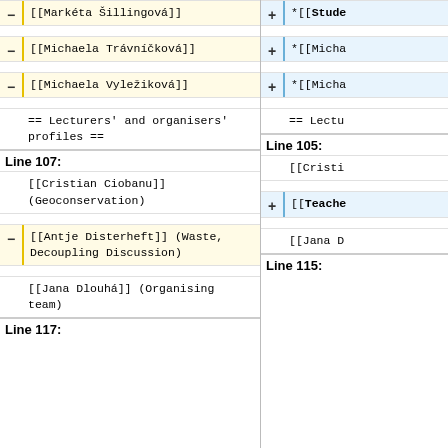| Left (Line 107) | Right (Line 105) |
| --- | --- |
| [[Markéta Šillingová]] | *[[Stude... |
| [[Michaela Trávníčková]] | *[[Micha... |
| [[Michaela Vyležiková]] | *[[Micha... |
| == Lecturers' and organisers' profiles == | == Lectu... |
| Line 107: | Line 105: |
| [[Cristian Ciobanu]] (Geoconservation) | [[Cristi... |
| [[Antje Disterheft]] (Waste, Decoupling Discussion) | [[Teache... |
| [[Jana Dlouhá]] (Organising team) | [[Jana D... |
| Line 117: | Line 115: |